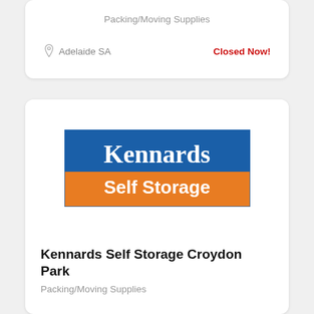Packing/Moving Supplies
Adelaide SA
Closed Now!
[Figure (logo): Kennards Self Storage logo: blue rectangle with white serif text 'Kennards' on top, orange rectangle with white bold text 'Self Storage' on bottom]
Kennards Self Storage Croydon Park
Packing/Moving Supplies